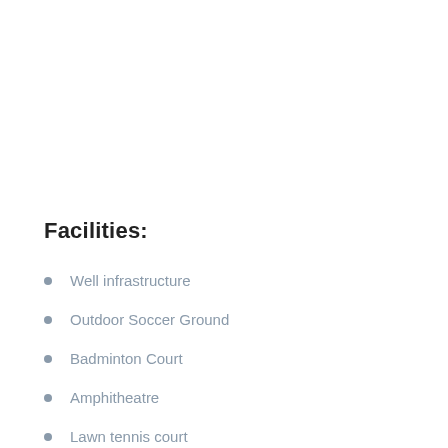Facilities:
Well infrastructure
Outdoor Soccer Ground
Badminton Court
Amphitheatre
Lawn tennis court
Swimming pool